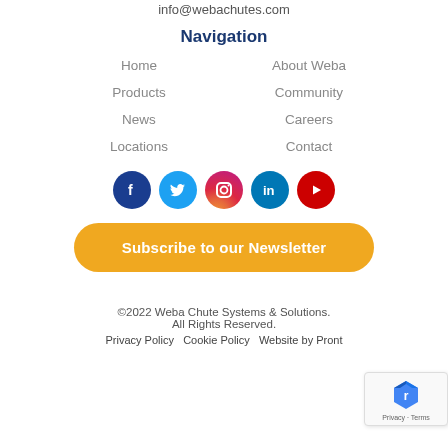info@webachutes.com
Navigation
Home
About Weba
Products
Community
News
Careers
Locations
Contact
[Figure (infographic): Social media icons row: Facebook, Twitter, Instagram, LinkedIn, YouTube]
Subscribe to our Newsletter
©2022 Weba Chute Systems & Solutions. All Rights Reserved. Privacy Policy  Cookie Policy  Website by Pront…